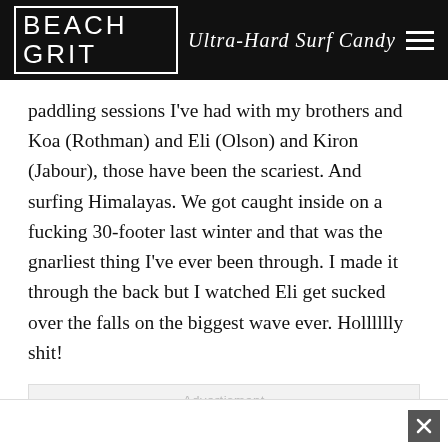BEACH GRIT  Ultra-Hard Surf Candy
paddling sessions I've had with my brothers and Koa (Rothman) and Eli (Olson) and Kiron (Jabour), those have been the scariest. And surfing Himalayas. We got caught inside on a fucking 30-footer last winter and that was the gnarliest thing I've ever been through. I made it through the back but I watched Eli get sucked over the falls on the biggest wave ever. Holllll y shit!
[Figure (other): Advertisement placeholder box with 'Advertisment' label and scroll-to-top button]